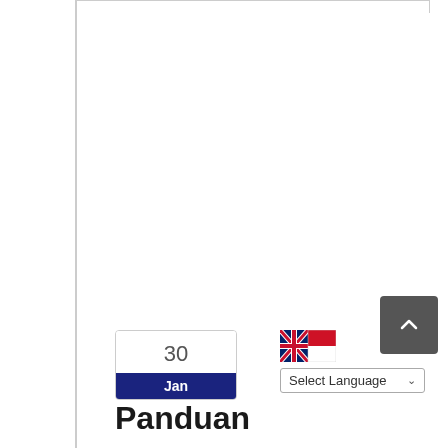[Figure (screenshot): Top border/frame of a webpage with white background and gray border]
[Figure (screenshot): Calendar date widget showing '30' in gray on white, and 'Jan' on dark blue background]
[Figure (screenshot): Language selector area with UK and Indonesian flag icons, and a 'Select Language' dropdown button]
[Figure (screenshot): Dark gray scroll-to-top button with white upward chevron arrow]
Panduan